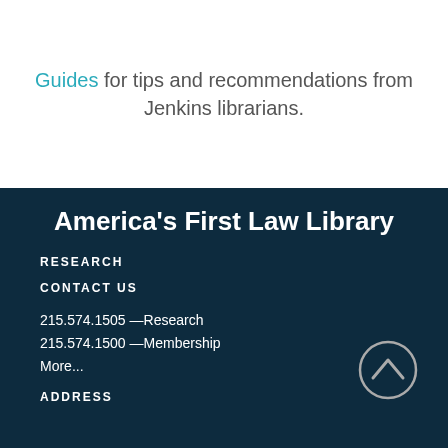Guides for tips and recommendations from Jenkins librarians.
America's First Law Library
RESEARCH
CONTACT US
215.574.1505 —Research
215.574.1500 —Membership
More...
ADDRESS